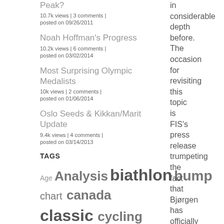Peak?
10.7k views | 3 comments |
posted on 09/26/2011
Noah Hoffman's Progress
10.2k views | 6 comments |
posted on 03/02/2014
Most Surprising Olympic Medalists
10k views | 2 comments |
posted on 01/06/2014
Oslo Seeds & Kikkan/Marit Update
9.4k views | 4 comments |
posted on 03/14/2013
TAGS
Age Analysis biathlon bump chart canada classic cycling
in considerable depth before. The occasion for revisiting this topic is FIS's press release trumpeting the fact that Bjørgen has officially reached 46 WC victories,